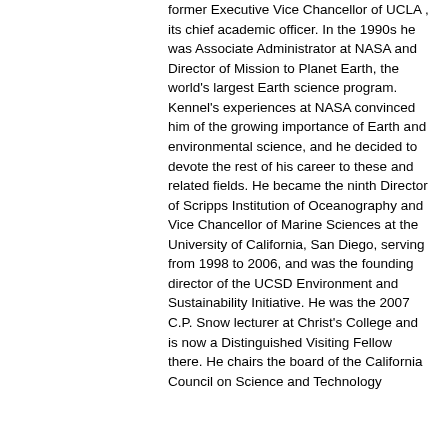former Executive Vice Chancellor of UCLA , its chief academic officer. In the 1990s he was Associate Administrator at NASA and Director of Mission to Planet Earth, the world's largest Earth science program. Kennel's experiences at NASA convinced him of the growing importance of Earth and environmental science, and he decided to devote the rest of his career to these and related fields. He became the ninth Director of Scripps Institution of Oceanography and Vice Chancellor of Marine Sciences at the University of California, San Diego, serving from 1998 to 2006, and was the founding director of the UCSD Environment and Sustainability Initiative. He was the 2007 C.P. Snow lecturer at Christ's College and is now a Distinguished Visiting Fellow there. He chairs the board of the California Council on Science and Technology